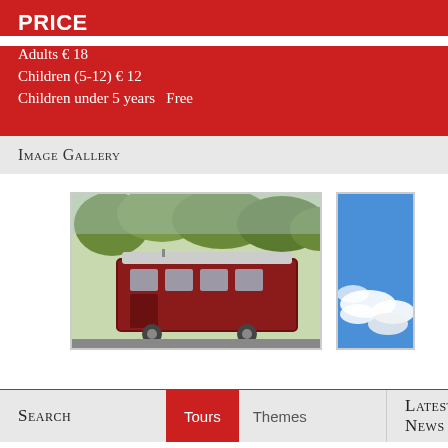PRICE
Adults € 18
Children (5-12) € 12
Children under 5 years  Free
Image Gallery
[Figure (photo): A red trolley/tram bus on a street with green trees in the background.]
[Figure (photo): Partial view of a blue sky with white clouds.]
Search   Tours   Themes   Latest News